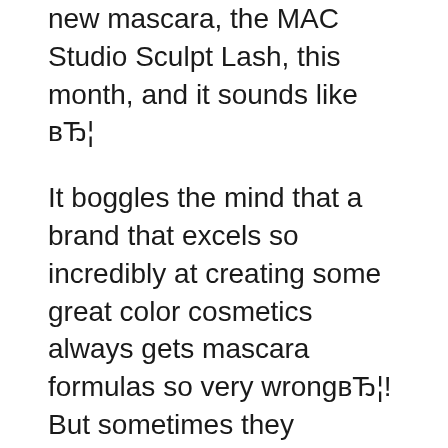new mascara, the MAC Studio Sculpt Lash, this month, and it sounds like вЂ¦
It boggles the mind that a brand that excels so incredibly at creating some great color cosmetics always gets mascara formulas so very wrongвЂ¦! But sometimes they surprise us and I think Extended Play is one of those surprised and IвЂ™m hoping MAC Studio Sculpt Lash Mascara will be too. MAC Makeup Studio Sculpt Concealer Review, Pictures, Swatches & Dupe Mac Studio Sculpt Concealer in NC20 п»їп»їп»їп»ї I Luuuuurve this concealer, this is probably my favourite for covering any blemishes. Its really thick and stays where you put it! I find it's a